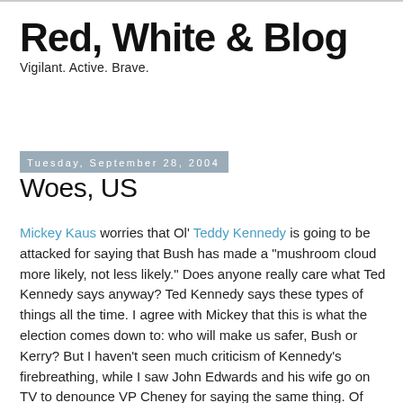Red, White & Blog
Vigilant. Active. Brave.
Tuesday, September 28, 2004
Woes, US
Mickey Kaus worries that Ol' Teddy Kennedy is going to be attacked for saying that Bush has made a "mushroom cloud more likely, not less likely." Does anyone really care what Ted Kennedy says anyway? Ted Kennedy says these types of things all the time. I agree with Mickey that this is what the election comes down to: who will make us safer, Bush or Kerry? But I haven't seen much criticism of Kennedy's firebreathing, while I saw John Edwards and his wife go on TV to denounce VP Cheney for saying the same thing. Of course, this is the typical Dem projection/copy-cat response.